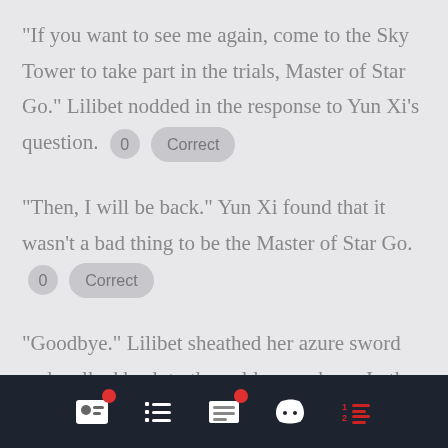"If you want to see me again, come to the Sky Tower to take part in the trials, Master of Star Go." Lilibet nodded in the response to Yun Xi's question.  0  Correct
"Then, I will be back." Yun Xi found that it wasn't a bad thing to be the Master of Star Go.  0  Correct
"Goodbye." Lilibet sheathed her azure sword and walked back to the golden seashore. In the distance, a group of wandering souls flew close to the Sky Tower.  0  Correct
[Figure (other): Dark footer navigation bar with five icons: profile card with red badge, list icon, document/filter icon with red badge, Discord logo, and numbered list icon in red]